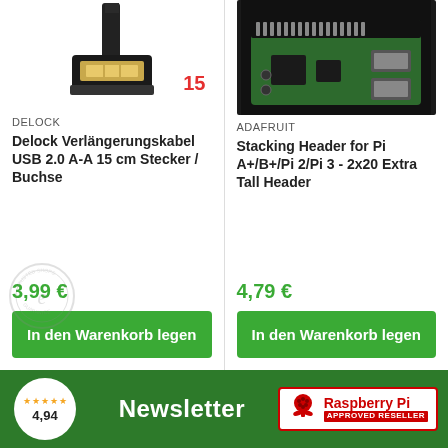[Figure (photo): USB 2.0 Type-A connector cable, black, with gold-plated connector tip, partial view]
15
DELOCK
Delock Verlängerungskabel USB 2.0 A-A 15 cm Stecker / Buchse
3,99 €
In den Warenkorb legen
[Figure (photo): Raspberry Pi single-board computer, close-up view of PCB with USB ports and GPIO header]
ADAFRUIT
Stacking Header for Pi A+/B+/Pi 2/Pi 3 - 2x20 Extra Tall Header
4,79 €
In den Warenkorb legen
[Figure (logo): Trusted Shops guarantee watermark, circular seal in light grey]
4,94
Newsletter
[Figure (logo): Raspberry Pi Approved Reseller badge with raspberry logo]